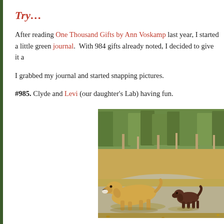Try…
After reading One Thousand Gifts by Ann Voskamp last year, I started a little green journal.  With 984 gifts already noted, I decided to give it a
I grabbed my journal and started snapping pictures.
#985. Clyde and Levi (our daughter's Lab) having fun.
[Figure (photo): Two dogs on a paved driveway or path with trees in the background. A yellow Labrador in the foreground and a chocolate Labrador in the background.]